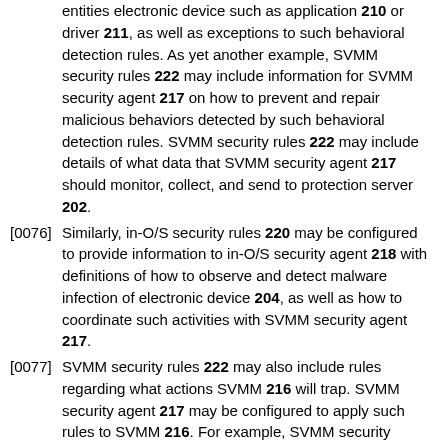entities electronic device such as application 210 or driver 211, as well as exceptions to such behavioral detection rules. As yet another example, SVMM security rules 222 may include information for SVMM security agent 217 on how to prevent and repair malicious behaviors detected by such behavioral detection rules. SVMM security rules 222 may include details of what data that SVMM security agent 217 should monitor, collect, and send to protection server 202.
[0076] Similarly, in-O/S security rules 220 may be configured to provide information to in-O/S security agent 218 with definitions of how to observe and detect malware infection of electronic device 204, as well as how to coordinate such activities with SVMM security agent 217.
[0077] SVMM security rules 222 may also include rules regarding what actions SVMM 216 will trap. SVMM security agent 217 may be configured to apply such rules to SVMM 216. For example, SVMM security agent 217 may be configured to